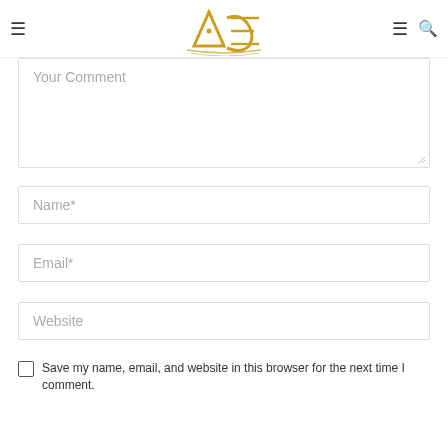ACE logo with navigation icons
Your Comment
Name*
Email*
Website
Save my name, email, and website in this browser for the next time I comment.